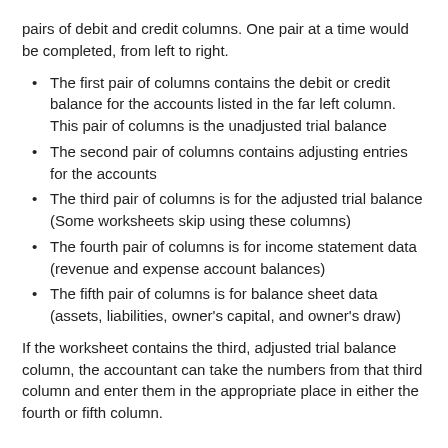pairs of debit and credit columns. One pair at a time would be completed, from left to right.
The first pair of columns contains the debit or credit balance for the accounts listed in the far left column. This pair of columns is the unadjusted trial balance
The second pair of columns contains adjusting entries for the accounts
The third pair of columns is for the adjusted trial balance (Some worksheets skip using these columns)
The fourth pair of columns is for income statement data (revenue and expense account balances)
The fifth pair of columns is for balance sheet data (assets, liabilities, owner's capital, and owner's draw)
If the worksheet contains the third, adjusted trial balance column, the accountant can take the numbers from that third column and enter them in the appropriate place in either the fourth or fifth column.